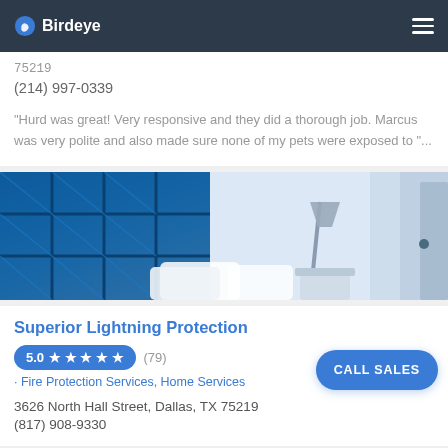Birdeye
75219
(214) 997-0339
"Hurd was great! Very responsive and they did a thorough job. Marcus was very polite and also made sure none of my pets were exposed to "...
[Figure (photo): Interior room photo showing blue decorative wall panels, white pillows, a floor lamp, and a door with handle — blue-toned lighting]
Superior Lightning Protection
5.0 ★★★★★ (79)
· Fire Protection Services, Home Services
CALL SALES
3626 North Hall Street, Dallas, TX 75219
(817) 908-9330